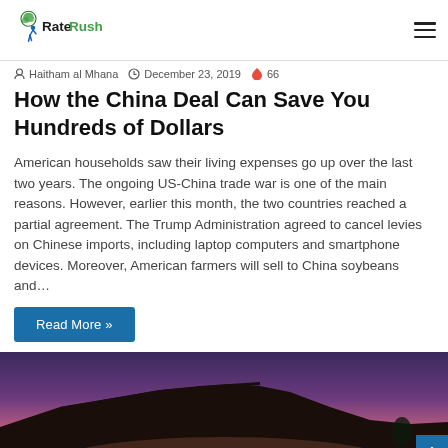RateRush
Haitham al Mhana   December 23, 2019   66
How the China Deal Can Save You Hundreds of Dollars
American households saw their living expenses go up over the last two years. The ongoing US-China trade war is one of the main reasons. However, earlier this month, the two countries reached a partial agreement. The Trump Administration agreed to cancel levies on Chinese imports, including laptop computers and smartphone devices. Moreover, American farmers will sell to China soybeans and…
Read More »
[Figure (photo): Exterior photo of a house roof at dusk/twilight with a purple-pink sky.]